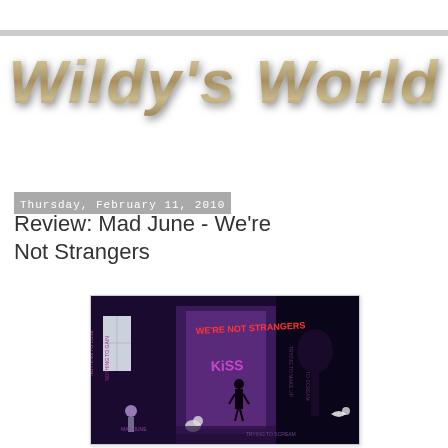[Figure (logo): Wildy's World blog logo in large metallic gold italic bold text]
Thursday, February 11, 2010
Review: Mad June - We're Not Strangers
[Figure (photo): Album cover for Mad June - We're Not Strangers, showing a dark purple/blue scene with graffiti text reading 'WE'RE NOT STRANGERS' and 'KISS', with a silhouetted figure and various painted text elements on walls]